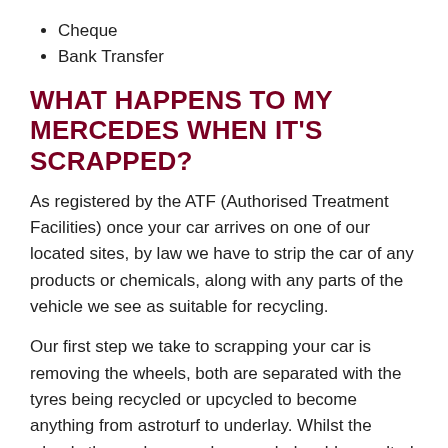Cheque
Bank Transfer
WHAT HAPPENS TO MY MERCEDES WHEN IT'S SCRAPPED?
As registered by the ATF (Authorised Treatment Facilities) once your car arrives on one of our located sites, by law we have to strip the car of any products or chemicals, along with any parts of the vehicle we see as suitable for recycling.
Our first step we take to scrapping your car is removing the wheels, both are separated with the tyres being recycled or upcycled to become anything from astroturf to underlay. Whilst the wheels themselves can be recycled, sold or melted into ingots to be reused to a multitude of new things.
The next step we take is to remove other parts of your car to either be sold, recycled or upcycled; this includes the lights and the mirrors. Th